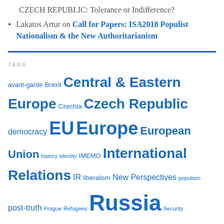CZECH REPUBLIC: Tolerance or Indifference?
Lakatos Artur on Call for Papers: ISA2018 Populist Nationalism & the New Authoritarianism
[Figure (other): Blue horizontal rule divider]
TAGS
avant-garde Brexit Central & Eastern Europe Czechia Czech Republic democracy EU Europe European Union history identity IMEMO International Relations IR liberalism New Perspectives populism post-truth Prague Refugees Russia Security Ukraine Ukraine crisis Visegrad
CATEGORIES